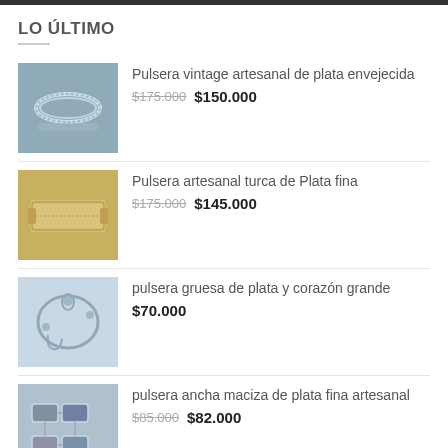LO ÚLTIMO
Pulsera vintage artesanal de plata envejecida — $175.000 $150.000
Pulsera artesanal turca de Plata fina — $175.000 $145.000
pulsera gruesa de plata y corazón grande — $70.000
pulsera ancha maciza de plata fina artesanal — $85.000 $82.000
MÁS VENDIDOS